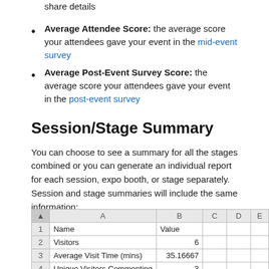the networking segment that chose to connect and share details
Average Attendee Score: the average score your attendees gave your event in the mid-event survey
Average Post-Event Survey Score: the average score your attendees gave your event in the post-event survey
Session/Stage Summary
You can choose to see a summary for all the stages combined or you can generate an individual report for each session, expo booth, or stage separately. Session and stage summaries will include the same information:
|  | A | B | C | D | E |
| --- | --- | --- | --- | --- | --- |
| 1 | Name | Value |  |  |  |
| 2 | Visitors | 6 |  |  |  |
| 3 | Average Visit Time (mins) | 35.16667 |  |  |  |
| 4 | Unique Visitors Commenting | 3 |  |  |  |